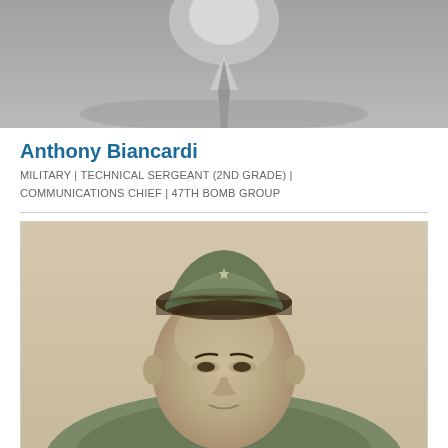[Figure (photo): Partial top view of a person in a suit with tie, black and white photo, cropped showing neck/shoulder/lower face area]
Anthony Biancardi
MILITARY | TECHNICAL SERGEANT (2ND GRADE) | COMMUNICATIONS CHIEF | 47TH BOMB GROUP
[Figure (photo): Black and white portrait photograph of Anthony Biancardi in military uniform wearing a garrison/overseas cap with a star insignia, facing slightly left]